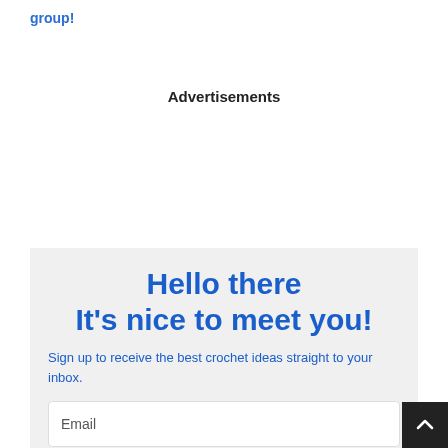group!
Advertisements
Hello there
It's nice to meet you!
Sign up to receive the best crochet ideas straight to your inbox.
Email